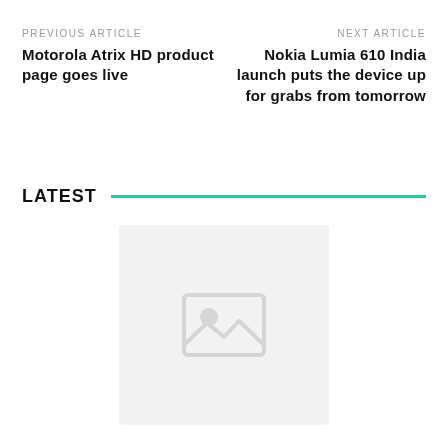PREVIOUS ARTICLE
Motorola Atrix HD product page goes live
NEXT ARTICLE
Nokia Lumia 610 India launch puts the device up for grabs from tomorrow
LATEST
[Figure (photo): Placeholder image thumbnail area, light gray background with faint icon]